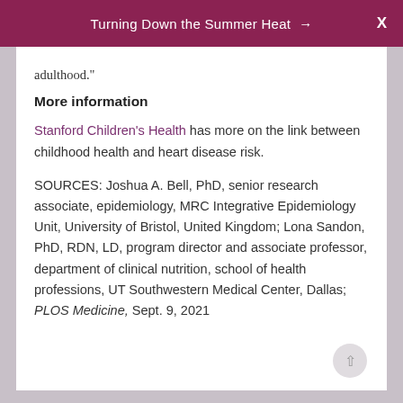Turning Down the Summer Heat →  X
adulthood."
More information
Stanford Children's Health has more on the link between childhood health and heart disease risk.
SOURCES: Joshua A. Bell, PhD, senior research associate, epidemiology, MRC Integrative Epidemiology Unit, University of Bristol, United Kingdom; Lona Sandon, PhD, RDN, LD, program director and associate professor, department of clinical nutrition, school of health professions, UT Southwestern Medical Center, Dallas; PLOS Medicine, Sept. 9, 2021